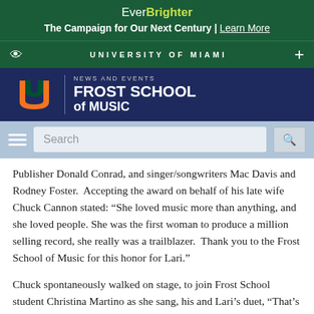EverBrighter — The Campaign for Our Next Century | Learn More
[Figure (logo): University of Miami navigation bar with eye icon and plus icon]
[Figure (logo): Frost School of Music — News and Events header logo with UM orange U logo]
[Figure (screenshot): Search bar area with hamburger menu, search input placeholder, and search button]
Publisher Donald Conrad, and singer/songwriters Mac Davis and Rodney Foster.  Accepting the award on behalf of his late wife Chuck Cannon stated: “She loved music more than anything, and she loved people. She was the first woman to produce a million selling record, she really was a trailblazer.  Thank you to the Frost School of Music for this honor for Lari.”
Chuck spontaneously walked on stage, to join Frost School student Christina Martino as she sang, his and Lari's duet, "That's How You Know When You're In Love"